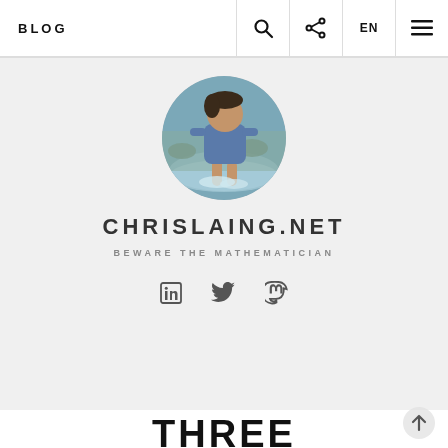BLOG
[Figure (photo): Circular profile photo of a person wading in water, wearing a blue shirt and shorts, with rocky riverbed and water visible]
CHRISLAING.NET
BEWARE THE MATHEMATICIAN
[Figure (infographic): Three social media icons: LinkedIn, Twitter, and Mastodon]
THREE CATEGORIES OF AI